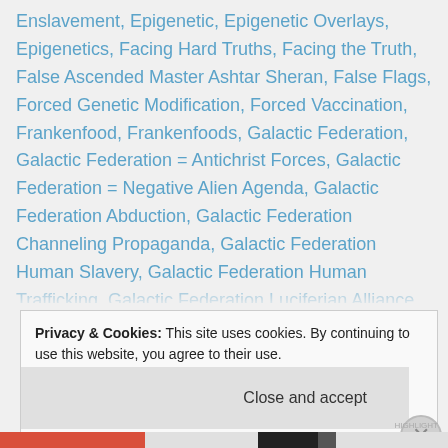Enslavement, Epigenetic, Epigenetic Overlays, Epigenetics, Facing Hard Truths, Facing the Truth, False Ascended Master Ashtar Sheran, False Flags, Forced Genetic Modification, Forced Vaccination, Frankenfood, Frankenfoods, Galactic Federation, Galactic Federation = Antichrist Forces, Galactic Federation = Negative Alien Agenda, Galactic Federation Abduction, Galactic Federation Channeling Propaganda, Galactic Federation Human Slavery, Galactic Federation Human Trafficking, Galactic Federation Luciferian Alliance, Galactic Federation Mind Control, Galactic Federation's Luciferian Alliance, Gene, Gene Editing, Gene Expression, Gene Suppression, Genes, Genetic, Genetic Activation
Privacy & Cookies: This site uses cookies. By continuing to use this website, you agree to their use. To find out more, including how to control cookies, see here: Cookie Policy
Close and accept